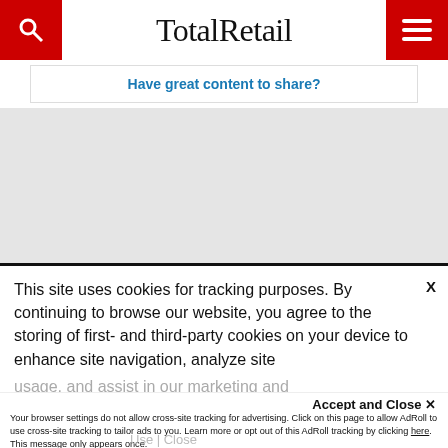TotalRetail
Have great content to share?
[Figure (screenshot): Gray placeholder/advertisement area below the header content box]
This site uses cookies for tracking purposes. By continuing to browse our website, you agree to the storing of first- and third-party cookies on your device to enhance site navigation, analyze site usage, and assist in our marketing and
Accept and Close ✕
Your browser settings do not allow cross-site tracking for advertising. Click on this page to allow AdRoll to use cross-site tracking to tailor ads to you. Learn more or opt out of this AdRoll tracking by clicking here. This message only appears once.
Use | Close